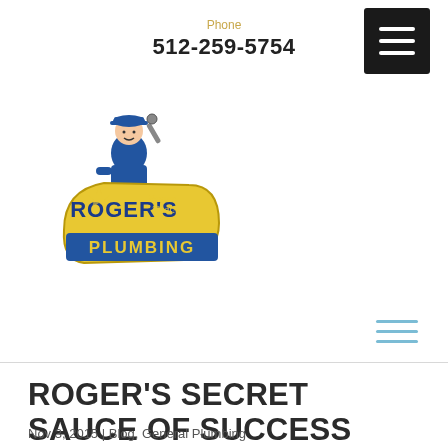Phone
512-259-5754
[Figure (logo): Roger's Plumbing logo with cartoon plumber character, blue and yellow color scheme]
ROGER'S SECRET SAUCE OF SUCCESS
Nov 3, 2015 | Blog, General Plumbing